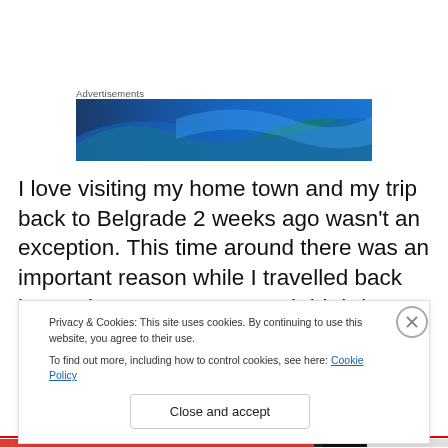Advertisements
[Figure (illustration): Blue and teal wave advertisement banner]
I love visiting my home town and my trip back to Belgrade 2 weeks ago wasn't an exception. This time around there was an important reason while I travelled back home- it was my mum's 60th birthday. So, on Sunday we went for a bit of shopping and a lunch at one of the nicest gardens in
Privacy & Cookies: This site uses cookies. By continuing to use this website, you agree to their use.
To find out more, including how to control cookies, see here: Cookie Policy
Close and accept